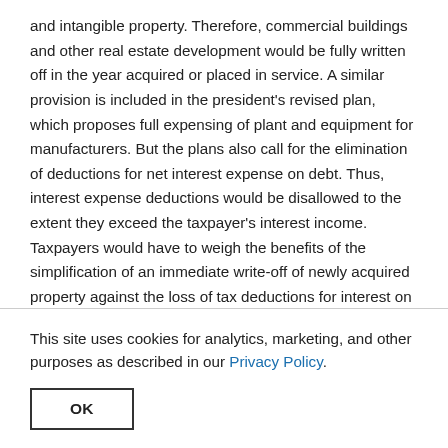and intangible property. Therefore, commercial buildings and other real estate development would be fully written off in the year acquired or placed in service. A similar provision is included in the president's revised plan, which proposes full expensing of plant and equipment for manufacturers. But the plans also call for the elimination of deductions for net interest expense on debt. Thus, interest expense deductions would be disallowed to the extent they exceed the taxpayer's interest income. Taxpayers would have to weigh the benefits of the simplification of an immediate write-off of newly acquired property against the loss of tax deductions for interest on the debt used to acquire the asset. Net operating losses resulting from the immediate expensing of commercial real estate
This site uses cookies for analytics, marketing, and other purposes as described in our Privacy Policy.
OK